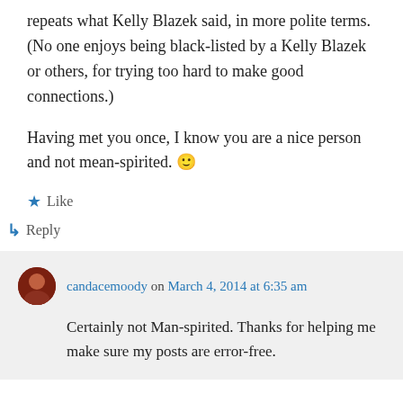repeats what Kelly Blazek said, in more polite terms. (No one enjoys being black-listed by a Kelly Blazek or others, for trying too hard to make good connections.)
Having met you once, I know you are a nice person and not mean-spirited. 🙂
★ Like
↳ Reply
candacemoody on March 4, 2014 at 6:35 am
Certainly not Man-spirited. Thanks for helping me make sure my posts are error-free.